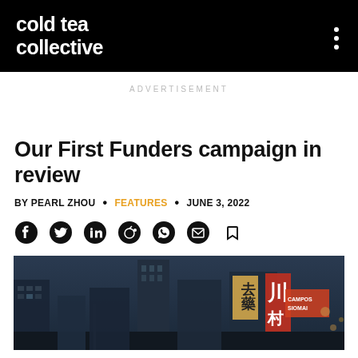cold tea collective
ADVERTISEMENT
Our First Funders campaign in review
BY PEARL ZHOU • FEATURES • JUNE 3, 2022
[Figure (other): Social sharing icons: Facebook, Twitter, LinkedIn, Reddit, WhatsApp, Email, Bookmark]
[Figure (photo): Dark photo of a city street in Asia with illuminated signs including Chinese characters and neon signage at night]